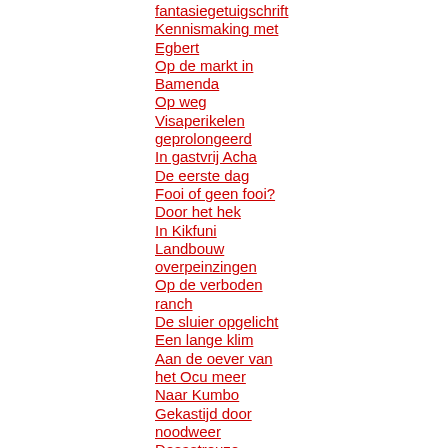fantasiegetuigschrift
Kennismaking met Egbert
Op de markt in Bamenda
Op weg
Visaperikelen geprolongeerd
In gastvrij Acha
De eerste dag
Fooi of geen fooi?
Door het hek
In Kikfuni
Landbouw overpeinzingen
Op de verboden ranch
De sluier opgelicht
Een lange klim
Aan de oever van het Ocu meer
Naar Kumbo
Gekastijd door noodweer
Desastreuze kaalslag
Twee Afrikaanse handicaps
In Kumbo
In Nthambaw
Op weg naar Ntam